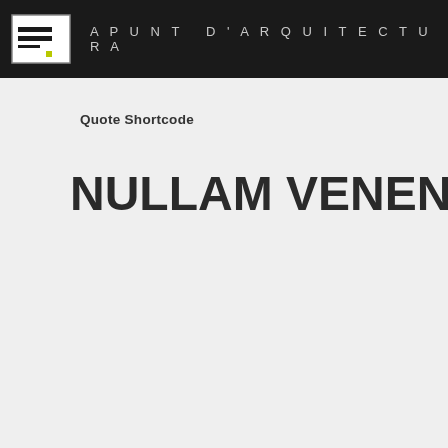APUNT D'ARQUITECTURA
Quote Shortcode
NULLAM VENENATIS LAC CU